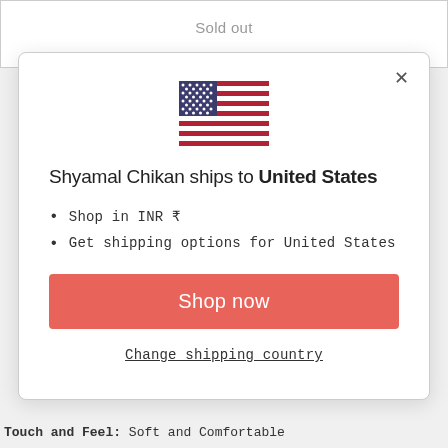Sold out
[Figure (illustration): US flag emoji/icon centered in modal]
Shyamal Chikan ships to United States
Shop in INR ₹
Get shipping options for United States
Shop now
Change shipping country
Touch and Feel: Soft and Comfortable